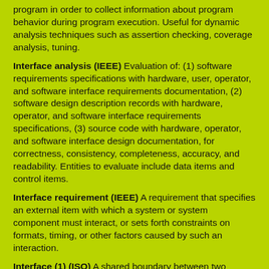program in order to collect information about program behavior during program execution. Useful for dynamic analysis techniques such as assertion checking, coverage analysis, tuning.
Interface analysis (IEEE) Evaluation of: (1) software requirements specifications with hardware, user, operator, and software interface requirements documentation, (2) software design description records with hardware, operator, and software interface requirements specifications, (3) source code with hardware, operator, and software interface design documentation, for correctness, consistency, completeness, accuracy, and readability. Entities to evaluate include data items and control items.
Interface requirement (IEEE) A requirement that specifies an external item with which a system or system component must interact, or sets forth constraints on formats, timing, or other factors caused by such an interaction.
Interface (1) (ISO) A shared boundary between two functional units, defined by functional characteristics, common physical interconnection characteristics, signal characteristics, and other characteristics, as appropriate The concept involves the